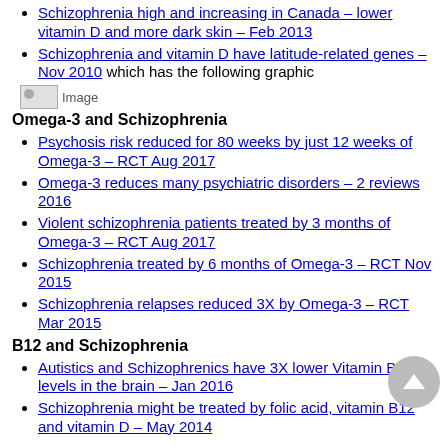Schizophrenia high and increasing in Canada – lower vitamin D and more dark skin – Feb 2013
Schizophrenia and vitamin D have latitude-related genes – Nov 2010 which has the following graphic
[Figure (illustration): Broken image placeholder icon labeled 'Image']
Omega-3 and Schizophrenia
Psychosis risk reduced for 80 weeks by just 12 weeks of Omega-3 – RCT Aug 2017
Omega-3 reduces many psychiatric disorders – 2 reviews 2016
Violent schizophrenia patients treated by 3 months of Omega-3 – RCT Aug 2017
Schizophrenia treated by 6 months of Omega-3 – RCT Nov 2015
Schizophrenia relapses reduced 3X by Omega-3 – RCT Mar 2015
B12 and Schizophrenia
Autistics and Schizophrenics have 3X lower Vitamin B12 levels in the brain – Jan 2016
Schizophrenia might be treated by folic acid, vitamin B12 and vitamin D – May 2014